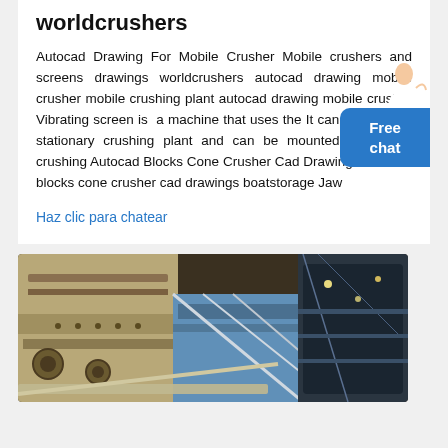worldcrushers
Autocad Drawing For Mobile Crusher Mobile crushers and screens drawings worldcrushers autocad drawing mobile crusher mobile crushing plant autocad drawing mobile crusher Vibrating screen is a machine that uses the It can be used for stationary crushing plant and can be mounted on mobile crushing Autocad Blocks Cone Crusher Cad Drawings Autocad blocks cone crusher cad drawings boatstorage Jaw
Haz clic para chatear
[Figure (photo): Photo of industrial crushing/screening machinery showing metal framework, conveyor belts, and structural components of a mobile crusher or screening plant]